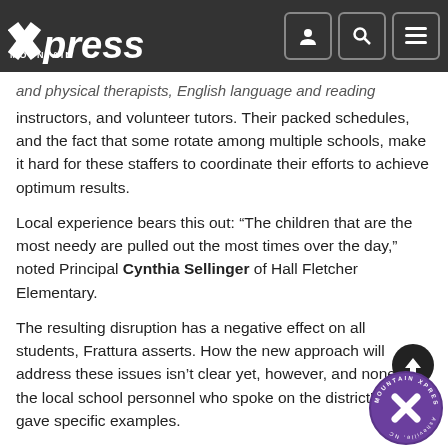Mountain Xpress
and physical therapists, English language and reading instructors, and volunteer tutors. Their packed schedules, and the fact that some rotate among multiple schools, make it hard for these staffers to coordinate their efforts to achieve optimum results.
Local experience bears this out: “The children that are the most needy are pulled out the most times over the day,” noted Principal Cynthia Sellinger of Hall Fletcher Elementary.
The resulting disruption has a negative effect on all students, Frattura asserts. How the new approach will address these issues isn’t clear yet, however, and none of the local school personnel who spoke on the district’s plans gave specific examples.
Accentuate the positive
Another trap schools fall into, said Capper, is thinking that